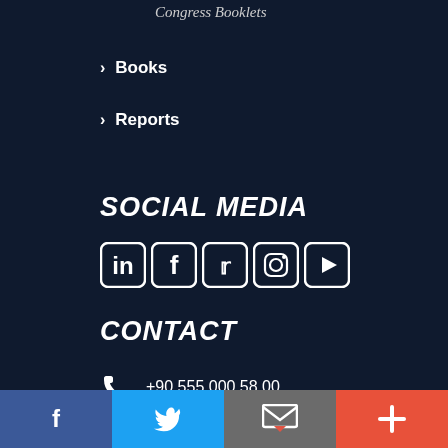Congress Booklets
Books
Reports
SOCIAL MEDIA
[Figure (illustration): Social media icons: LinkedIn, Facebook, Twitter, Instagram, YouTube — white outlined square icons on dark navy background]
CONTACT
+90 555 000 58 00
info@assam.org.tr
Facebook | Twitter | Email | Plus — bottom navigation bar